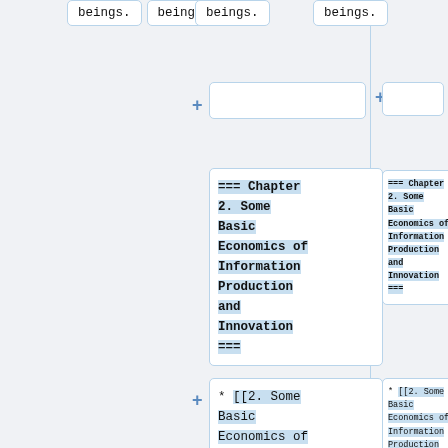beings.
beings.
=== Chapter 2. Some Basic Economics of Information Production and Innovation ===
* [[2. Some Basic Economics of Information Production and Innovation|Summary of